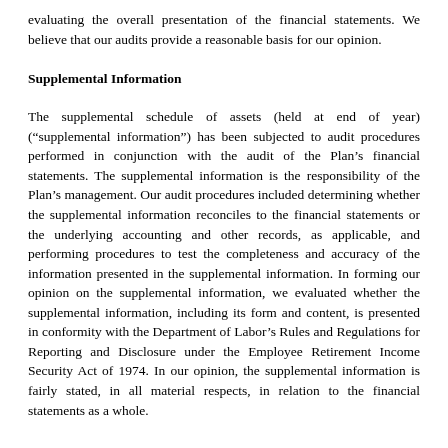evaluating the overall presentation of the financial statements. We believe that our audits provide a reasonable basis for our opinion.
Supplemental Information
The supplemental schedule of assets (held at end of year) (“supplemental information”) has been subjected to audit procedures performed in conjunction with the audit of the Plan’s financial statements. The supplemental information is the responsibility of the Plan’s management. Our audit procedures included determining whether the supplemental information reconciles to the financial statements or the underlying accounting and other records, as applicable, and performing procedures to test the completeness and accuracy of the information presented in the supplemental information. In forming our opinion on the supplemental information, we evaluated whether the supplemental information, including its form and content, is presented in conformity with the Department of Labor’s Rules and Regulations for Reporting and Disclosure under the Employee Retirement Income Security Act of 1974. In our opinion, the supplemental information is fairly stated, in all material respects, in relation to the financial statements as a whole.
/s/ Mayer Hoffman McCann P.C.
We have served as the Plan’s auditor since 2019.